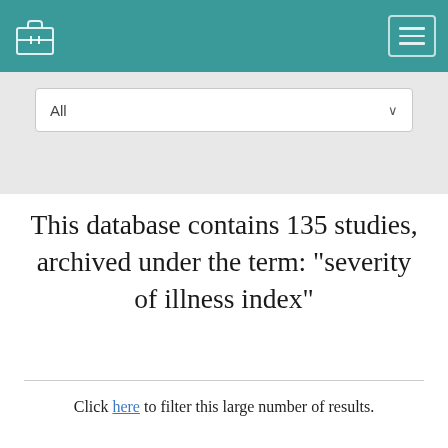All
This database contains 135 studies, archived under the term: "severity of illness index"
Click here to filter this large number of results.